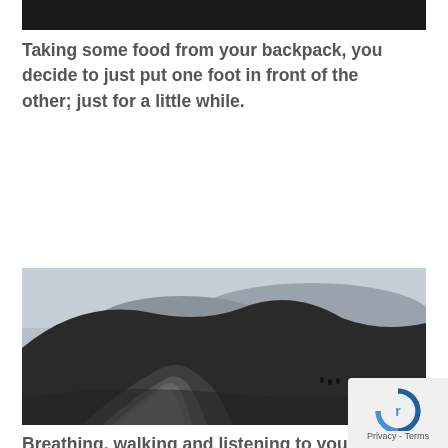[Figure (photo): Dark cropped top portion of a mountain landscape photo]
Taking some food from your backpack, you decide to just put one foot in front of the other; just for a little while.
[Figure (photo): Misty mountain ridge with a rocky path leading up to the summit, small figures of hikers visible on the path]
Breathing, walking and listening to your favourite podcast you reach the summit. Getting out into the fresh air and pushing your body to feel alive is not as tricky as you thought it was